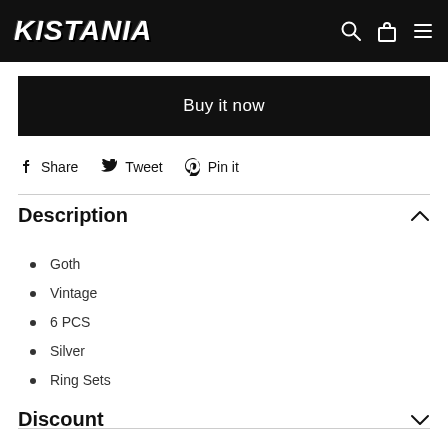KISTANIA
Buy it now
Share  Tweet  Pin it
Description
Goth
Vintage
6 PCS
Silver
Ring Sets
Discount